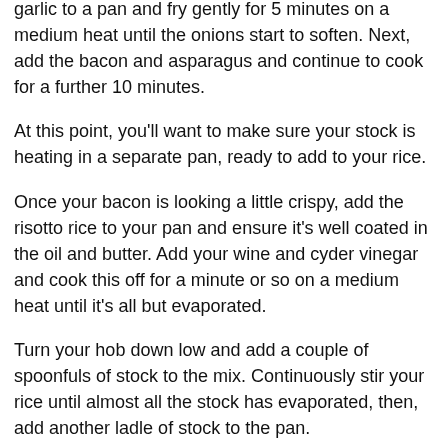garlic to a pan and fry gently for 5 minutes on a medium heat until the onions start to soften. Next, add the bacon and asparagus and continue to cook for a further 10 minutes.
At this point, you'll want to make sure your stock is heating in a separate pan, ready to add to your rice.
Once your bacon is looking a little crispy, add the risotto rice to your pan and ensure it's well coated in the oil and butter. Add your wine and cyder vinegar and cook this off for a minute or so on a medium heat until it's all but evaporated.
Turn your hob down low and add a couple of spoonfuls of stock to the mix. Continuously stir your rice until almost all the stock has evaporated, then, add another ladle of stock to the pan.